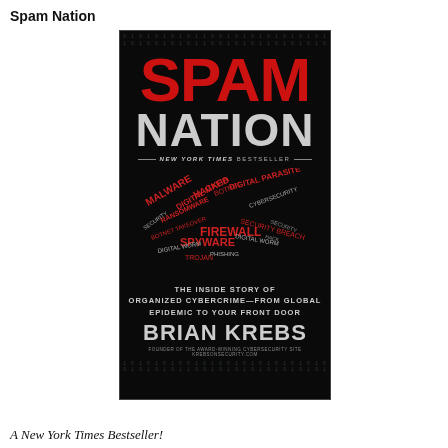Spam Nation
[Figure (photo): Book cover of 'Spam Nation' by Brian Krebs. Black background with binary code pattern at top and bottom. 'SPAM' in large red bold letters, 'NATION' in large silver/gray bold letters, 'NEW YORK TIMES BESTSELLER' in small text with horizontal rules. A word cloud in the shape of the United States filled with cybersecurity terms in red and white (MALWARE, RANSOMWARE, DIGITAL MAFIA, HACKED, BOTNET, DIGITAL PARASITE, SPYWARE, FIREWALL, etc.). Below the map: 'THE INSIDE STORY OF ORGANIZED CYBERCRIME—FROM GLOBAL EPIDEMIC TO YOUR FRONT DOOR'. Author name 'BRIAN KREBS' in large silver letters. Small text: 'FOUNDER OF THE AWARD-WINNING CYBERSECURITY SITE KREBSONSECURITY.COM']
A New York Times Bestseller!